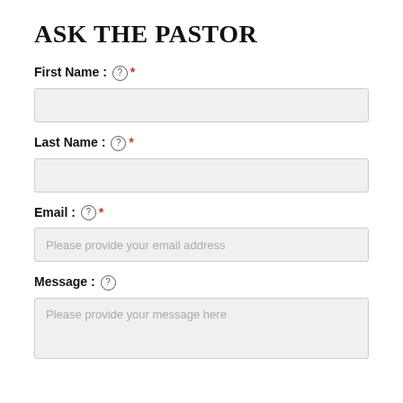ASK THE PASTOR
First Name : ? *
(input field - empty)
Last Name : ? *
(input field - empty)
Email : ? *
Please provide your email address
Message : ?
Please provide your message here